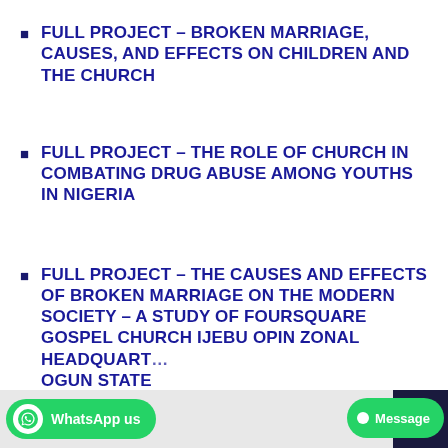FULL PROJECT – BROKEN MARRIAGE, CAUSES, AND EFFECTS ON CHILDREN AND THE CHURCH
FULL PROJECT – THE ROLE OF CHURCH IN COMBATING DRUG ABUSE AMONG YOUTHS IN NIGERIA
FULL PROJECT – THE CAUSES AND EFFECTS OF BROKEN MARRIAGE ON THE MODERN SOCIETY – A STUDY OF FOURSQUARE GOSPEL CHURCH IJEBU OPIN ZONAL HEADQUARTERS, OGUN STATE